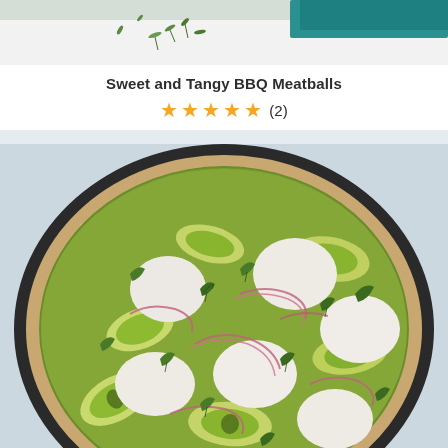[Figure (photo): Partial top view of a food photo showing herbs and a teal cloth on a light background]
Sweet and Tangy BBQ Meatballs
★★★★★ (2)
[Figure (photo): Overhead photo of a pizza on a dark round pan lined with parchment paper, topped with green pesto base, avocado slices, mozzarella rounds, thinly sliced red onion, and arugula leaves]